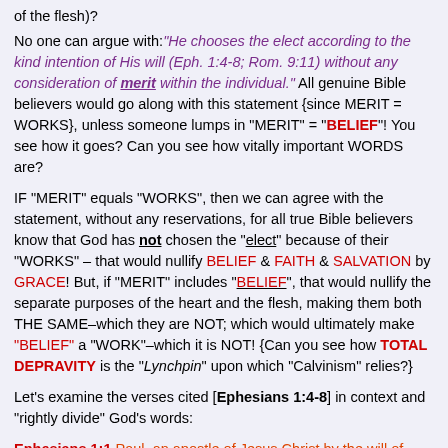of the flesh)?
No one can argue with: "He chooses the elect according to the kind intention of His will (Eph. 1:4-8; Rom. 9:11) without any consideration of merit within the individual." All genuine Bible believers would go along with this statement {since MERIT = WORKS}, unless someone lumps in "MERIT" = "BELIEF"! You see how it goes? Can you see how vitally important WORDS are?
IF "MERIT" equals "WORKS", then we can agree with the statement, without any reservations, for all true Bible believers know that God has not chosen the "elect" because of their "WORKS" – that would nullify BELIEF & FAITH & SALVATION by GRACE! But, if "MERIT" includes "BELIEF", that would nullify the separate purposes of the heart and the flesh, making them both THE SAME–which they are NOT; which would ultimately make "BELIEF" a "WORK"–which it is NOT! {Can you see how TOTAL DEPRAVITY is the "Lynchpin" upon which "Calvinism" relies?}
Let's examine the verses cited [Ephesians 1:4-8] in context and "rightly divide" God's words:
Ephesians 1:1 Paul, an apostle of Jesus Christ by the will of God, to the saints which are at Ephesus, and to the